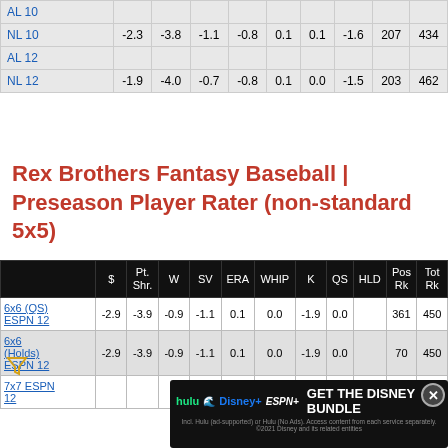|  | $ | Pt. Shr. | W | SV | ERA | WHIP | K | QS | HLD | Pos Rk | Tot Rk |
| --- | --- | --- | --- | --- | --- | --- | --- | --- | --- | --- | --- |
| AL 10 |  |  |  |  |  |  |  |  |  |  |  |
| NL 10 | -2.3 | -3.8 | -1.1 | -0.8 | 0.1 | 0.1 | -1.6 | 207 |  |  | 434 |
| AL 12 |  |  |  |  |  |  |  |  |  |  |  |
| NL 12 | -1.9 | -4.0 | -0.7 | -0.8 | 0.1 | 0.0 | -1.5 | 203 |  |  | 462 |
Rex Brothers Fantasy Baseball | Preseason Player Rater (non-standard 5x5)
|  | $ | Pt. Shr. | W | SV | ERA | WHIP | K | QS | HLD | Pos Rk | Tot Rk |
| --- | --- | --- | --- | --- | --- | --- | --- | --- | --- | --- | --- |
| 6x6 (QS) ESPN 12 | -2.9 | -3.9 | -0.9 | -1.1 | 0.1 | 0.0 | -1.9 | 0.0 |  | 361 | 450 |
| 6x6 (Holds) ESPN 12 | -2.9 | -3.9 | -0.9 | -1.1 | 0.1 | 0.0 | -1.9 | 0.0 |  | 70 | 450 |
| 7x7 ESPN 12 |  |  |  |  |  |  |  |  |  | 300 | 494 |
[Figure (other): Advertisement banner: GET THE DISNEY BUNDLE - Hulu, Disney+, ESPN+ logos with close button]